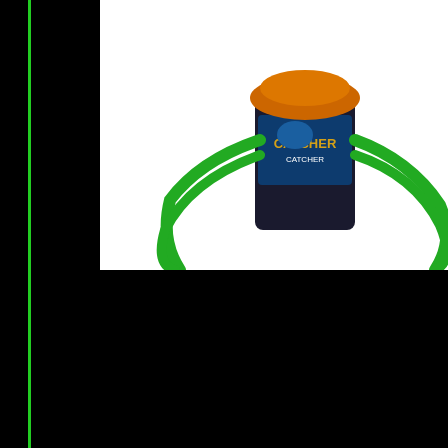[Figure (photo): Product photo of a novelty item – a dark cylindrical tin/jar labeled 'CATCHER' with orange and green tentacle/seaweed-like decorations draped around it, sitting against a white background.]
indicating it is ready to stink an
Price:£19.95